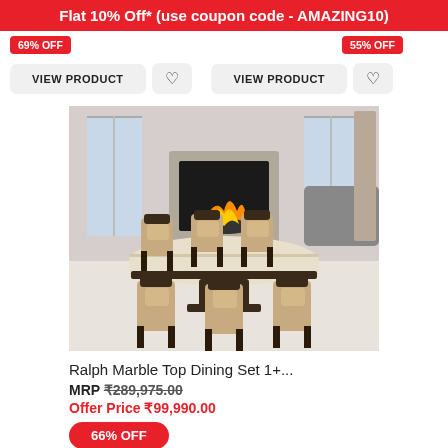Flat 10% Off* (use coupon code - AMAZING10)
69% OFF   55% OFF
VIEW PRODUCT   VIEW PRODUCT
[Figure (photo): Ralph Marble Top Dining Set with 8 chairs and marble top table in a living room setting with fireplace]
Ralph Marble Top Dining Set 1+...
MRP ₹289,975.00
Offer Price ₹99,990.00
66% OFF